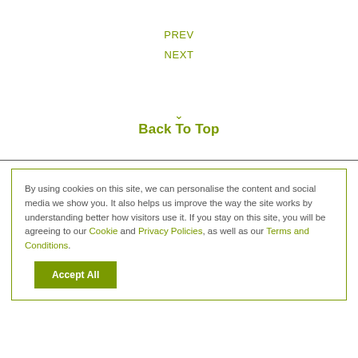PREV
NEXT
Back To Top
By using cookies on this site, we can personalise the content and social media we show you. It also helps us improve the way the site works by understanding better how visitors use it. If you stay on this site, you will be agreeing to our Cookie and Privacy Policies, as well as our Terms and Conditions.